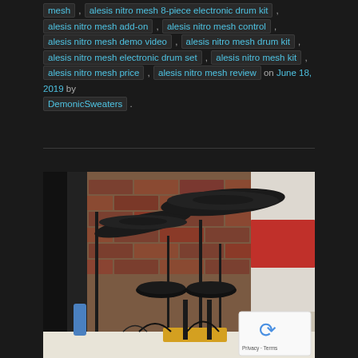mesh , alesis nitro mesh 8-piece electronic drum kit , alesis nitro mesh add-on , alesis nitro mesh control , alesis nitro mesh demo video , alesis nitro mesh drum kit , alesis nitro mesh electronic drum set , alesis nitro mesh kit , alesis nitro mesh price , alesis nitro mesh review on June 18, 2019 by DemonicSweaters .
[Figure (photo): Photo of an Alesis Nitro Mesh electronic drum kit set up in a room with a brick wall background. The kit includes cymbals, drum pads, and stands. To the right is a white shelving unit with a red storage box. A reCAPTCHA widget appears in the bottom right corner of the image.]